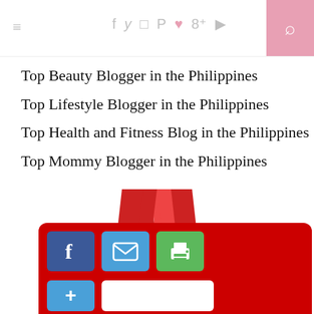Navigation and social icons header bar
Top Beauty Blogger in the Philippines
Top Lifestyle Blogger in the Philippines
Top Health and Fitness Blog in the Philippines
Top Mommy Blogger in the Philippines
[Figure (illustration): Gold award medal with red ribbon, text: AWARDED TOP 40 FILIPINA BEAUTY]
[Figure (infographic): Social share bar with Facebook, email, print buttons on red background, plus button and white bar below]